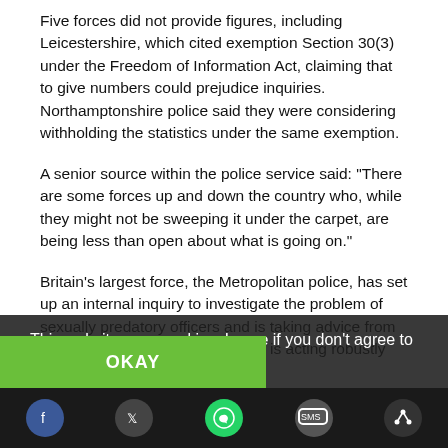Five forces did not provide figures, including Leicestershire, which cited exemption Section 30(3) under the Freedom of Information Act, claiming that to give numbers could prejudice inquiries. Northamptonshire police said they were considering withholding the statistics under the same exemption.
A senior source within the police service said: "There are some forces up and down the country who, while they might not be sweeping it under the carpet, are being less than open about what is going on."
Britain's largest force, the Metropolitan police, has set up an internal inquiry to investigate the problem of sexually predatory officers and is taking advice from the Nottinghamshire force, which is acting robustly against such criminality.
The Met's directorate of professional standards is carrying out 42 investigations relating to 47 allegations...
This website uses cookies. Leave if you don't agree to them.